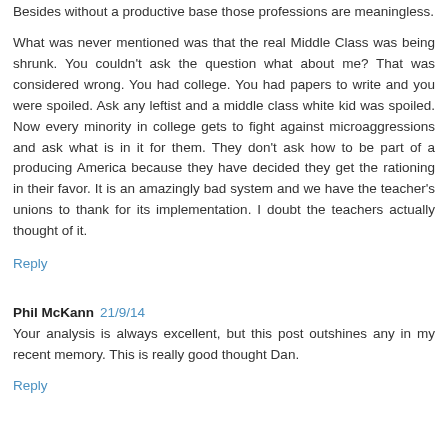Besides without a productive base those professions are meaningless.
What was never mentioned was that the real Middle Class was being shrunk. You couldn't ask the question what about me? That was considered wrong. You had college. You had papers to write and you were spoiled. Ask any leftist and a middle class white kid was spoiled. Now every minority in college gets to fight against microaggressions and ask what is in it for them. They don't ask how to be part of a producing America because they have decided they get the rationing in their favor. It is an amazingly bad system and we have the teacher's unions to thank for its implementation. I doubt the teachers actually thought of it.
Reply
Phil McKann 21/9/14
Your analysis is always excellent, but this post outshines any in my recent memory. This is really good thought Dan.
Reply